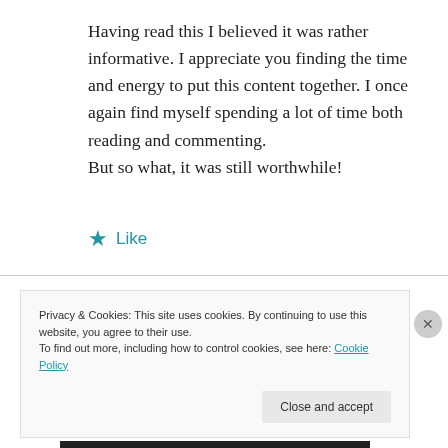Having read this I believed it was rather informative. I appreciate you finding the time and energy to put this content together. I once again find myself spending a lot of time both reading and commenting.
But so what, it was still worthwhile!
★ Like
Privacy & Cookies: This site uses cookies. By continuing to use this website, you agree to their use.
To find out more, including how to control cookies, see here: Cookie Policy
Close and accept